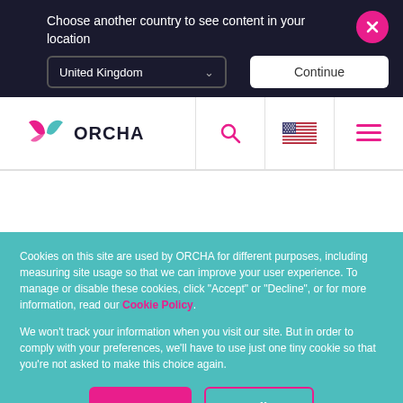Choose another country to see content in your location
United Kingdom
Continue
[Figure (logo): ORCHA logo with pink and teal leaf shapes]
Contact us
For more information about our services, to
Cookies on this site are used by ORCHA for different purposes, including measuring site usage so that we can improve your user experience. To manage or disable these cookies, click "Accept" or "Decline", or for more information, read our Cookie Policy.
We won't track your information when you visit our site. But in order to comply with your preferences, we'll have to use just one tiny cookie so that you're not asked to make this choice again.
Accept
Decline